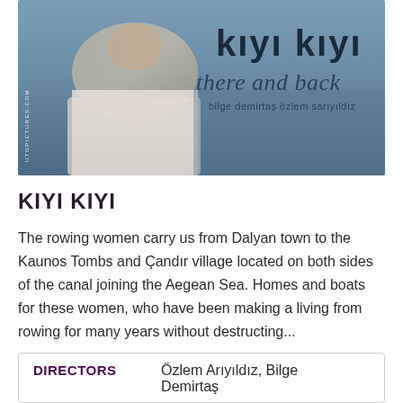[Figure (photo): Movie poster for 'Kıyı Kıyı / There and Back' showing a person on a boat, with the film title in dark teal and subtitles listing actors bilge demirtaş and özlem sarıyıldız. UTOPICTURES.COM watermark visible.]
KIYI KIYI
The rowing women carry us from Dalyan town to the Kaunos Tombs and Çandır village located on both sides of the canal joining the Aegean Sea. Homes and boats for these women, who have been making a living from rowing for many years without destructing...
| DIRECTORS |  |
| --- | --- |
|  | Özlem Arıyıldız, Bilge Demirtaş |